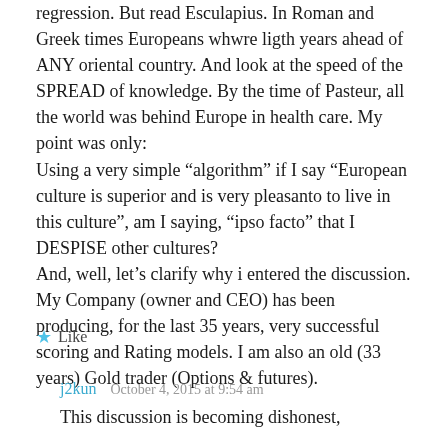regression. But read Esculapius. In Roman and Greek times Europeans whwre ligth years ahead of ANY oriental country. And look at the speed of the SPREAD of knowledge. By the time of Pasteur, all the world was behind Europe in health care. My point was only:
Using a very simple “algorithm” if I say “European culture is superior and is very pleasanto to live in this culture”, am I saying, “ipso facto” that I DESPISE other cultures?
And, well, let’s clarify why i entered the discussion. My Company (owner and CEO) has been producing, for the last 35 years, very successful scoring and Rating models. I am also an old (33 years) Gold trader (Options & futures).
Like
j2kun
October 4, 2015 at 9:54 am
This discussion is becoming dishonest,